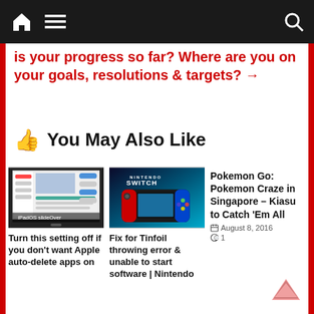Navigation bar with home, menu, and search icons
Is your progress so far? Where are you on your goals, resolutions & targets? →
👍 You May Also Like
[Figure (screenshot): iPadOS screenshot showing iPad interface]
Turn this setting off if you don't want Apple auto-delete apps on
[Figure (screenshot): Nintendo Switch console photo with NINTENDO SWITCH logo]
Fix for Tinfoil throwing error & unable to start software | Nintendo
Pokemon Go: Pokemon Craze in Singapore – Kiasu to Catch 'Em All
August 8, 2016
1